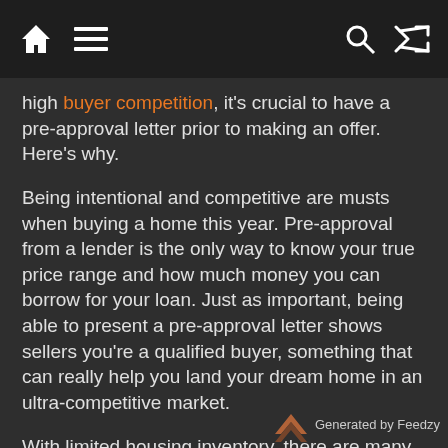Navigation bar with home, menu, search, and shuffle icons
high buyer competition, it's crucial to have a pre-approval letter prior to making an offer. Here's why.
Being intentional and competitive are musts when buying a home this year. Pre-approval from a lender is the only way to know your true price range and how much money you can borrow for your loan. Just as important, being able to present a pre-approval letter shows sellers you're a qualified buyer, something that can really help you land your dream home in an ultra-competitive market.
With limited housing inventory, there are many more buyers active in the market than there are
Generated by Feedzy